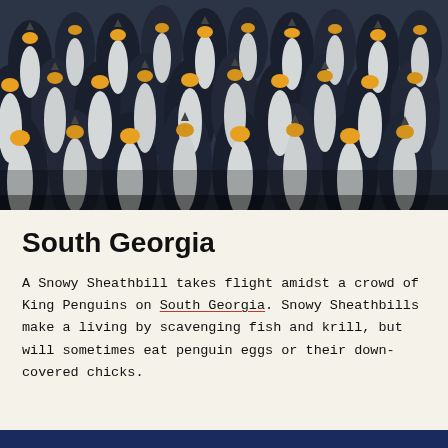[Figure (photo): A dense crowd of King Penguins photographed from above and at eye level, filling the entire frame. The penguins have black and dark navy backs, white fronts, and orange/yellow markings on their necks and beaks.]
South Georgia
A Snowy Sheathbill takes flight amidst a crowd of King Penguins on South Georgia. Snowy Sheathbills make a living by scavenging fish and krill, but will sometimes eat penguin eggs or their down-covered chicks.